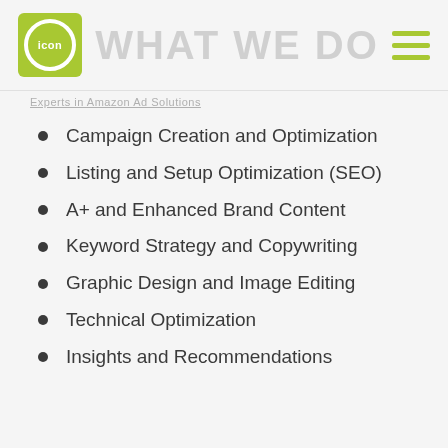ICON — WHAT WE DO
Experts in Amazon Ad Solutions
Campaign Creation and Optimization
Listing and Setup Optimization (SEO)
A+ and Enhanced Brand Content
Keyword Strategy and Copywriting
Graphic Design and Image Editing
Technical Optimization
Insights and Recommendations